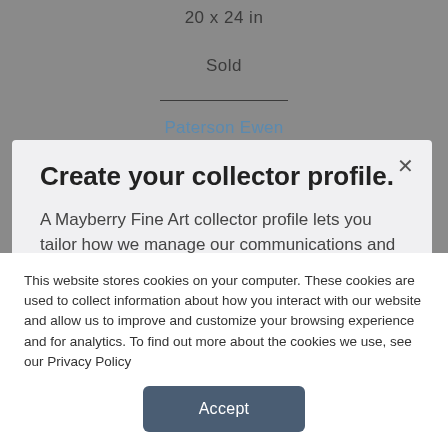20 x 24 in
Sold
Paterson Ewen
Create your collector profile.
A Mayberry Fine Art collector profile lets you tailor how we manage our communications and notifications with you.  Get notifications on exclusive offers for specific artworks or artists.
Create Your Profile
This website stores cookies on your computer. These cookies are used to collect information about how you interact with our website and allow us to improve and customize your browsing experience and for analytics. To find out more about the cookies we use, see our Privacy Policy
Accept